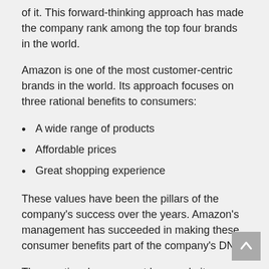of it. This forward-thinking approach has made the company rank among the top four brands in the world.
Amazon is one of the most customer-centric brands in the world. Its approach focuses on three rational benefits to consumers:
A wide range of products
Affordable prices
Great shopping experience
These values have been the pillars of the company's success over the years. Amazon's management has succeeded in making these consumer benefits part of the company's DNA.
The emotional component has made it possible for Amazon to be a key player in categories that are entirely different from its mandate. The company's